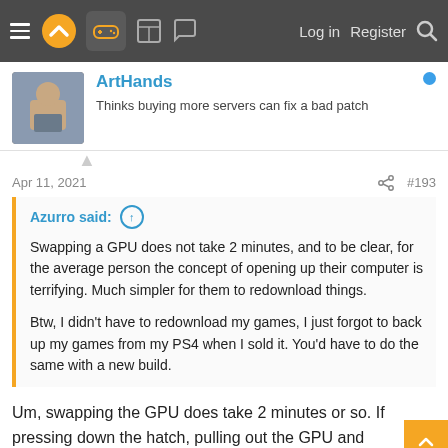Navigation bar with hamburger menu, logo, gamepad icon, board icon, chat icon, Log in, Register, Search
ArtHands
Thinks buying more servers can fix a bad patch
Apr 11, 2021  #193
Azurro said: ↑

Swapping a GPU does not take 2 minutes, and to be clear, for the average person the concept of opening up their computer is terrifying. Much simpler for them to redownload things.

Btw, I didn't have to redownload my games, I just forgot to back up my games from my PS4 when I sold it. You'd have to do the same with a new build.
Um, swapping the GPU does take 2 minutes or so. If pressing down the hatch, pulling out the GPU and inserting the new GPU takes more than 2 minutes, there's something wrong with the user.